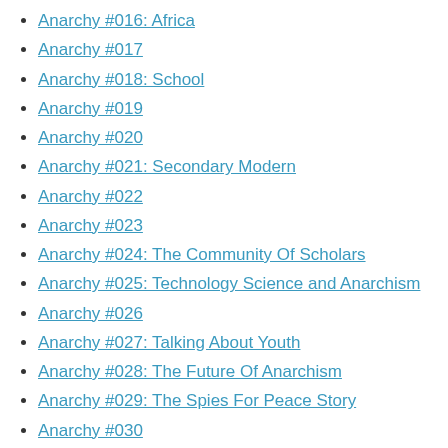Anarchy #016: Africa
Anarchy #017
Anarchy #018: School
Anarchy #019
Anarchy #020
Anarchy #021: Secondary Modern
Anarchy #022
Anarchy #023
Anarchy #024: The Community Of Scholars
Anarchy #025: Technology Science and Anarchism
Anarchy #026
Anarchy #027: Talking About Youth
Anarchy #028: The Future Of Anarchism
Anarchy #029: The Spies For Peace Story
Anarchy #030
Anarchy #031